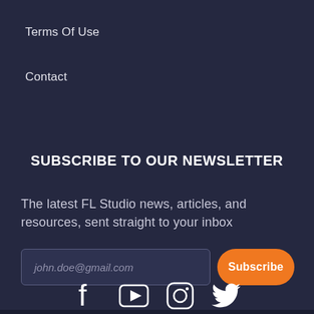Terms Of Use
Contact
SUBSCRIBE TO OUR NEWSLETTER
The latest FL Studio news, articles, and resources, sent straight to your inbox
[Figure (screenshot): Email input field with placeholder 'john.doe@gmail.com' and an orange Subscribe button]
[Figure (infographic): Social media icons: Facebook, YouTube, Instagram, Twitter]